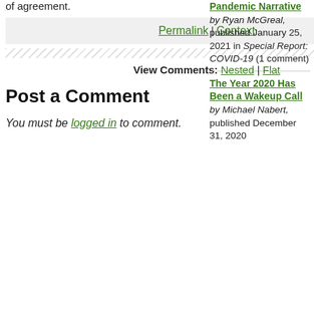of agreement.
Permalink | Context
View Comments: Nested | Flat
Post a Comment
You must be logged in to comment.
Pandemic Narrative by Ryan McGreal, published January 25, 2021 in Special Report: COVID-19 (1 comment)
The Year 2020 Has Been a Wakeup Call by Michael Nabert, published December 31, 2020